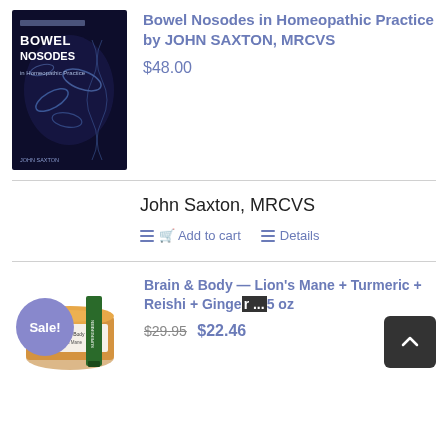[Figure (photo): Book cover: Bowel Nosodes in Homeopathic Practice by John Saxton, dark background with microscopic imagery]
Bowel Nosodes in Homeopathic Practice by JOHN SAXTON, MRCVS
$48.00
John Saxton, MRCVS
Add to cart  Details
[Figure (photo): Product image of Brain & Body supplement jar with Sale! badge overlay and green supplement stick pack]
Brain & Body — Lion's Mane + Turmeric + Reishi + Ginger ... 5 oz
$29.95  $22.46